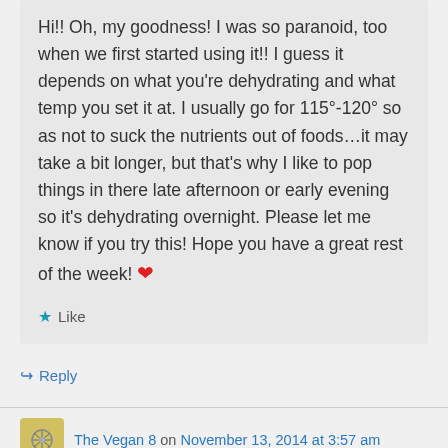Hi!! Oh, my goodness! I was so paranoid, too when we first started using it!! I guess it depends on what you're dehydrating and what temp you set it at. I usually go for 115°-120° so as not to suck the nutrients out of foods…it may take a bit longer, but that's why I like to pop things in there late afternoon or early evening so it's dehydrating overnight. Please let me know if you try this! Hope you have a great rest of the week! ❤
★ Like
↳ Reply
The Vegan 8 on November 13, 2014 at 3:57 am